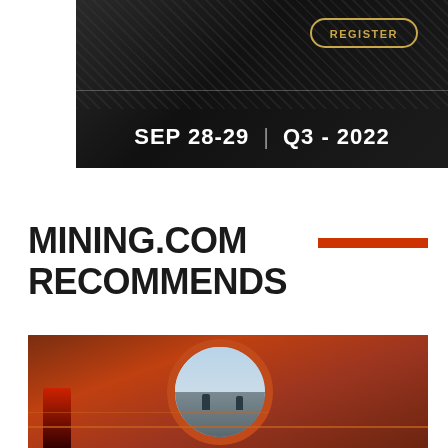[Figure (photo): Dark banner image showing a mining/industrial background with text 'REGISTER' in an oval button, 'SEP 28-29 | Q3 - 2022' in large bold white font on dark background.]
MINING.COM RECOMMENDS
[Figure (photo): Photo of a large red circular industrial ball mill drum opening at a mining facility, with workers in high-visibility gear standing on a platform visible through the circular opening, mountains and sky visible in the background.]